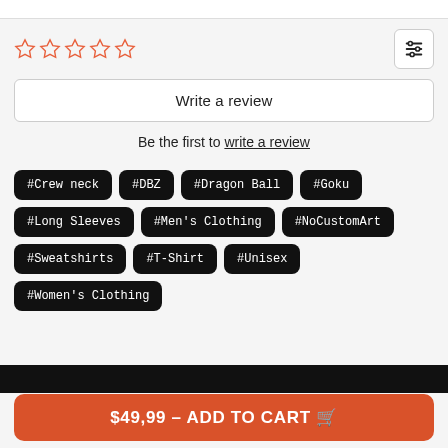[Figure (other): Five empty orange star rating icons in a row, and a filter/sliders icon button on the right]
Write a review
Be the first to write a review
#Crew neck
#DBZ
#Dragon Ball
#Goku
#Long Sleeves
#Men's Clothing
#NoCustomArt
#Sweatshirts
#T-Shirt
#Unisex
#Women's Clothing
$49,99 – ADD TO CART 🛒